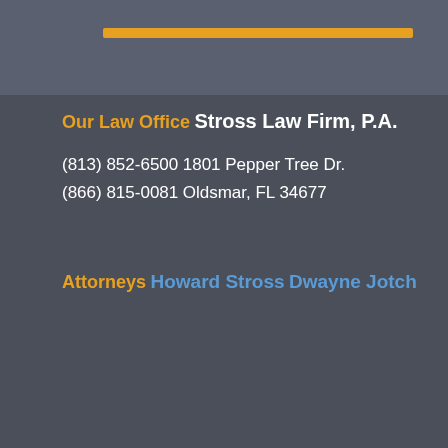Our Law Office
Stross Law Firm, P.A.
(813) 852-6500
(866) 815-0081
1801 Pepper Tree Dr.
Oldsmar, FL 34677
Attorneys
Howard Stross
Dwayne Jotch